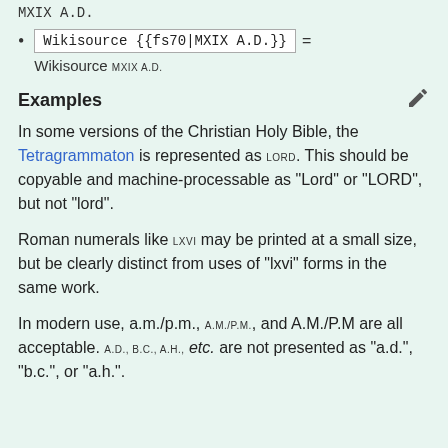MXIX A.D.
Wikisource {{fs70|MXIX A.D.}} = Wikisource MXIX A.D.
Examples
In some versions of the Christian Holy Bible, the Tetragrammaton is represented as LORD. This should be copyable and machine-processable as "Lord" or "LORD", but not "lord".
Roman numerals like LXVI may be printed at a small size, but be clearly distinct from uses of "lxvi" forms in the same work.
In modern use, a.m./p.m., A.M./P.M., and A.M./P.M are all acceptable. A.D., B.C., A.H., etc. are not presented as "a.d.", "b.c.", or "a.h.".